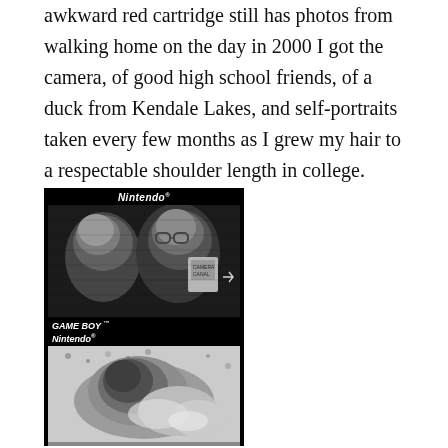awkward red cartridge still has photos from walking home on the day in 2000 I got the camera, of good high school friends, of a duck from Kendale Lakes, and self-portraits taken every few months as I grew my hair to a respectable shoulder length in college.
[Figure (photo): Game Boy Camera cartridge box showing two black-and-white photos: top image shows two people, one holding a Game Boy Camera cartridge; bottom image shows a person or animal in a grainy black-and-white photo. The box has Nintendo branding at top and bottom, with 'GAME BOY' logo in the middle.]